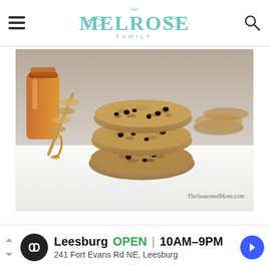The Melrose Family
[Figure (photo): Stack of oatmeal raisin cookies on white parchment paper with a honey dipper and jar of honey in the background. Watermark reads TheSeasonedMom.com]
[Figure (infographic): Advertisement banner: Leesburg OPEN 10AM-9PM, 241 Fort Evans Rd NE, Leesburg]